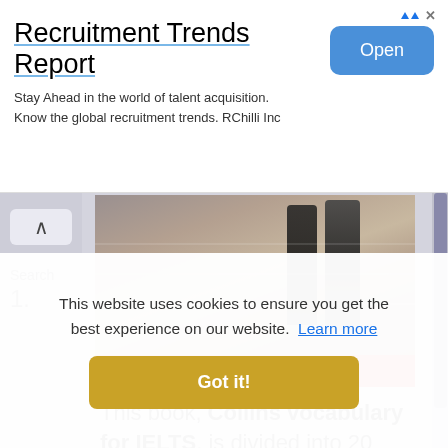Recruitment Trends Report
Stay Ahead in the world of talent acquisition. Know the global recruitment trends. RChilli Inc
[Figure (photo): Book cover photo showing people walking on steps, with POWERED BY COBUILD banner at bottom]
This book, Collins vocabulary for IELTS, is divided into 20 units.
This website uses cookies to ensure you get the best experience on our website. Learn more
Got it!
Search
1.